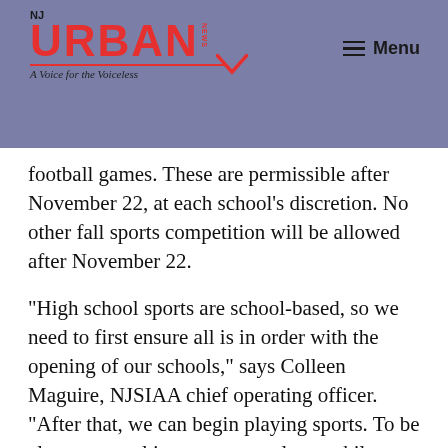NJ URBAN NEWS — A Voice for the Voiceless | Menu
football games. These are permissible after November 22, at each school's discretion. No other fall sports competition will be allowed after November 22.
“High school sports are school-based, so we need to first ensure all is in order with the opening of our schools,” says Colleen Maguire, NJSIAA chief operating officer. “After that, we can begin playing sports. To be clear, our goal is to return to play – while making sure that health, safety, emotional well-being, and academics come